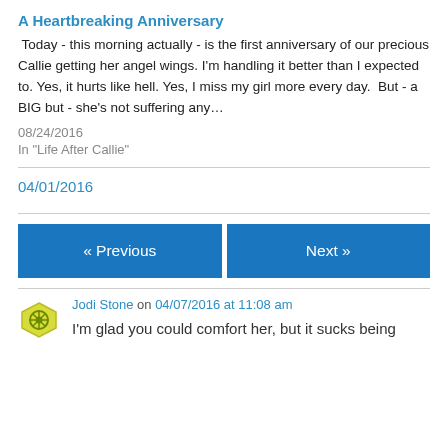A Heartbreaking Anniversary
Today - this morning actually - is the first anniversary of our precious Callie getting her angel wings. I'm handling it better than I expected to. Yes, it hurts like hell. Yes, I miss my girl more every day.  But - a BIG but - she's not suffering any…
08/24/2016
In "Life After Callie"
04/01/2016
« Previous
Next »
Jodi Stone on 04/07/2016 at 11:08 am
I'm glad you could comfort her, but it sucks being